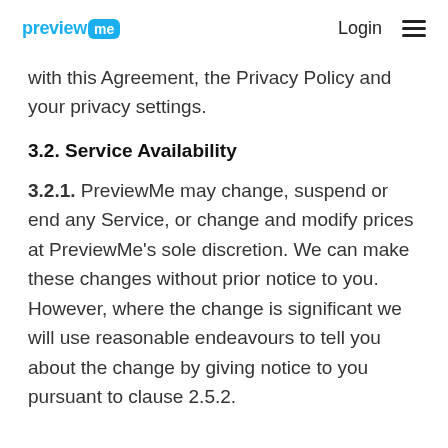preview me  Login ≡
with this Agreement, the Privacy Policy and your privacy settings.
3.2. Service Availability
3.2.1. PreviewMe may change, suspend or end any Service, or change and modify prices at PreviewMe's sole discretion. We can make these changes without prior notice to you. However, where the change is significant we will use reasonable endeavours to tell you about the change by giving notice to you pursuant to clause 2.5.2.